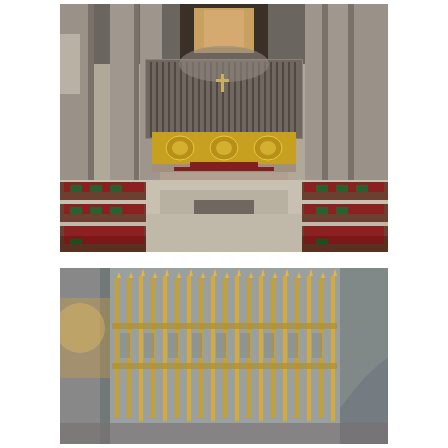[Figure (photo): Interior of a large Gothic cathedral nave, viewed from the center aisle looking toward the altar. Tall stone columns rise on both sides. The ornate altar is covered with a richly embroidered gold cloth. Wooden pews with red cushions and green hymnals line both sides. The choir screen and organ pipes are visible in the background.]
[Figure (photo): Close-up view of ornate Gothic cathedral choir screen or reredos with gilded vertical spires and tracery in stone. Gold metalwork decorates the stone niches. A warm light glows from the left side.]